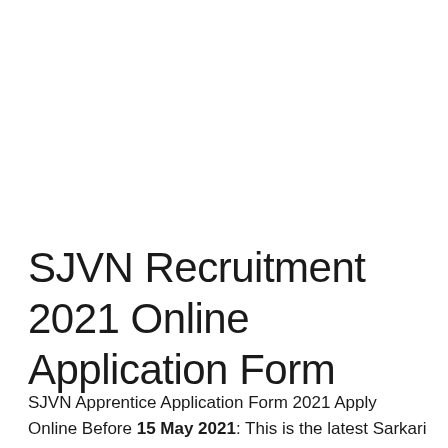SJVN Recruitment 2021 Online Application Form
SJVN Apprentice Application Form 2021 Apply Online Before 15 May 2021: This is the latest Sarkari Notification